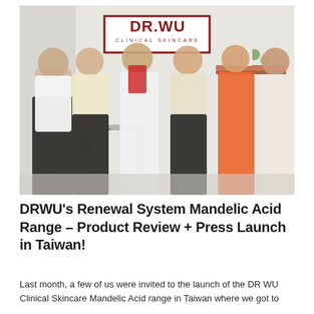[Figure (photo): Group photo of six people (five women and one man in a white doctor's coat) standing in front of a DR.WU Clinical Skincare branded backdrop with illustrated laboratory equipment. The DR.WU Clinical Skincare logo/sign is visible at the top center.]
DRWU's Renewal System Mandelic Acid Range – Product Review + Press Launch in Taiwan!
Last month, a few of us were invited to the launch of the DR WU Clinical Skincare Mandelic Acid range in Taiwan where we got to